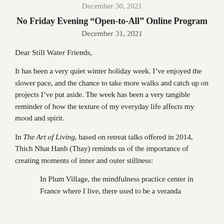December 30, 2021
No Friday Evening “Open-to-All” Online Program
December 31, 2021
Dear Still Water Friends,
It has been a very quiet winter holiday week. I’ve enjoyed the slower pace, and the chance to take more walks and catch up on projects I’ve put aside. The week has been a very tangible reminder of how the texture of my everyday life affects my mood and spirit.
In The Art of Living, based on retreat talks offered in 2014, Thich Nhat Hanh (Thay) reminds us of the importance of creating moments of inner and outer stillness:
In Plum Village, the mindfulness practice center in France where I live, there used to be a veranda